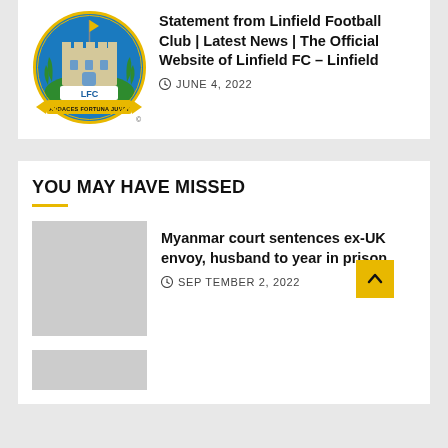[Figure (logo): Linfield FC circular badge with castle, LFC letters, laurel wreath and motto AUDACES FORTUNA JUVAT on yellow ribbon]
Statement from Linfield Football Club | Latest News | The Official Website of Linfield FC – Linfield
JUNE 4, 2022
YOU MAY HAVE MISSED
[Figure (photo): Gray placeholder thumbnail image]
Myanmar court sentences ex-UK envoy, husband to year in prison
SEPTEMBER 2, 2022
[Figure (photo): Gray placeholder thumbnail image (partial, bottom of page)]